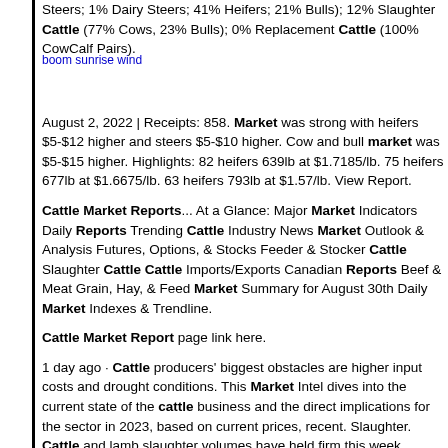Steers; 1% Dairy Steers; 41% Heifers; 21% Bulls); 12% Slaughter Cattle (77% Cows, 23% Bulls); 0% Replacement Cattle (100% CowCalf Pairs).
August 2, 2022 | Receipts: 858. Market was strong with heifers $5-$12 higher and steers $5-$10 higher. Cow and bull market was $5-$15 higher. Highlights: 82 heifers 639lb at $1.7185/lb. 75 heifers 677lb at $1.6675/lb. 63 heifers 793lb at $1.57/lb. View Report.
Cattle Market Reports... At a Glance: Major Market Indicators Daily Reports Trending Cattle Industry News Market Outlook & Analysis Futures, Options, & Stocks Feeder & Stocker Cattle Slaughter Cattle Cattle Imports/Exports Canadian Reports Beef & Meat Grain, Hay, & Feed Market Summary for August 30th Daily Market Indexes & Trendline.
Cattle Market Report page link here.
1 day ago · Cattle producers' biggest obstacles are higher input costs and drought conditions. This Market Intel dives into the current state of the cattle business and the direct implications for the sector in 2023, based on current prices, recent. Slaughter. Cattle and lamb slaughter volumes have held firm this week. Cattle slaughter increased by 1,922 head or 2%, while lamb slaughter was 221 head softer week-on-week but still 12% above year-ago levels, thanks to the reliable supply of lambs coming through the market. Sheep slaughter eased by 6.6% this week to sit below year-ago levels.
indiana tow truck driver shot